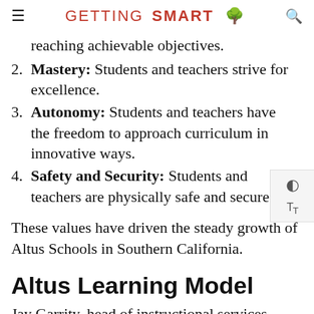GETTING SMART
reaching achievable objectives.
2. Mastery: Students and teachers strive for excellence.
3. Autonomy: Students and teachers have the freedom to approach curriculum in innovative ways.
4. Safety and Security: Students and teachers are physically safe and secure.
These values have driven the steady growth of Altus Schools in Southern California.
Altus Learning Model
Jay Garrity, head of instructional services